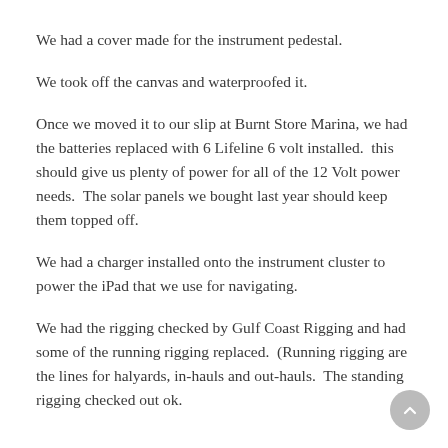We had a cover made for the instrument pedestal.
We took off the canvas and waterproofed it.
Once we moved it to our slip at Burnt Store Marina, we had the batteries replaced with 6 Lifeline 6 volt installed.  this should give us plenty of power for all of the 12 Volt power needs.  The solar panels we bought last year should keep them topped off.
We had a charger installed onto the instrument cluster to power the iPad that we use for navigating.
We had the rigging checked by Gulf Coast Rigging and had some of the running rigging replaced.  (Running rigging are the lines for halyards, in-hauls and out-hauls.  The standing rigging checked out ok.